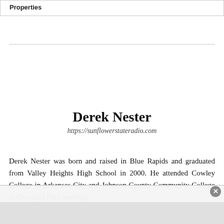Properties
Derek Nester
https://sunflowerstateradio.com
Derek Nester was born and raised in Blue Rapids and graduated from Valley Heights High School in 2000. He attended Cowley College in Arkansas City and Johnson County Community College in Overland Park studying